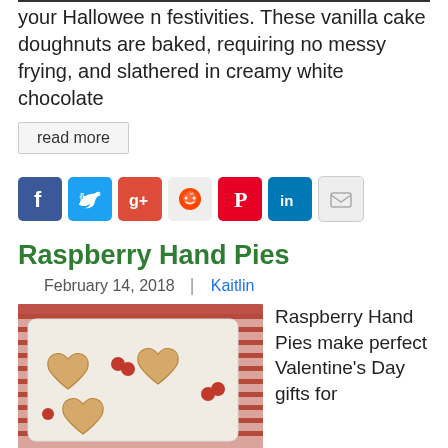your Halloween festivities. These vanilla cake doughnuts are baked, requiring no messy frying, and slathered in creamy white chocolate
read more
[Figure (infographic): Social sharing icons: Facebook (blue), Twitter (blue), Google+ (red), Reddit (grey), Pinterest (red), LinkedIn (blue), Email (grey)]
Raspberry Hand Pies
February 14, 2018   Kaitlin
[Figure (photo): Photo of heart-shaped raspberry hand pies on a marble board with a red and white striped cloth, with fresh raspberries scattered around.]
Raspberry Hand Pies make perfect Valentine's Day gifts for